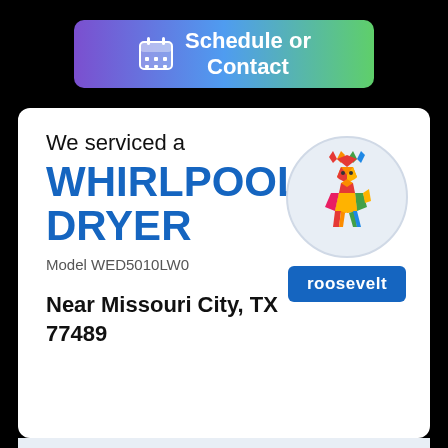[Figure (illustration): Schedule or Contact button with calendar icon and purple-to-green gradient background]
We serviced a
WHIRLPOOL DRYER
Model WED5010LW0
[Figure (logo): Roosevelt appliance service logo: colorful geometric low-poly deer inside a light blue circle, with 'roosevelt' label in blue rectangle below]
Near Missouri City, TX 77489
Job Details:
05/13/2022